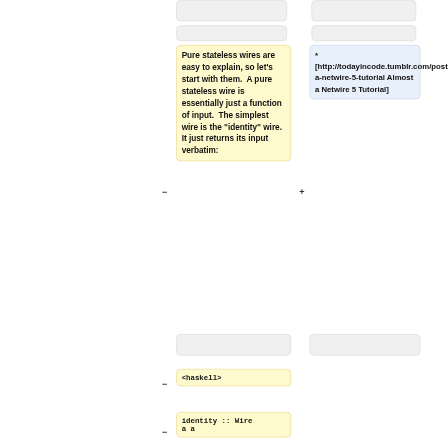Pure stateless wires are easy to explain, so let's start with them.  A pure stateless wire is essentially just a function of input.  The simplest wire is the "identity" wire.  It just returns its input verbatim:
* [http://todayincode.tumblr.com/post/96914679355/almost-a-netwire-5-tutorial Almost a Netwire 5 Tutorial]
<haskell>
identity :: Wire a a